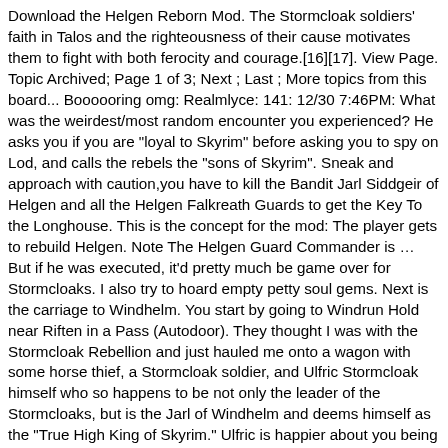Download the Helgen Reborn Mod. The Stormcloak soldiers' faith in Talos and the righteousness of their cause motivates them to fight with both ferocity and courage.[16][17]. View Page. Topic Archived; Page 1 of 3; Next ; Last ; More topics from this board... Boooooring omg: Realmlyce: 141: 12/30 7:46PM: What was the weirdest/most random encounter you experienced? He asks you if you are "loyal to Skyrim" before asking you to spy on Lod, and calls the rebels the "sons of Skyrim". Sneak and approach with caution,you have to kill the Bandit Jarl Siddgeir of Helgen and all the Helgen Falkreath Guards to get the Key To the Longhouse. This is the concept for the mod: The player gets to rebuild Helgen. Note The Helgen Guard Commander is … But if he was executed, it'd pretty much be game over for Stormcloaks. I also try to hoard empty petty soul gems. Next is the carriage to Windhelm. You start by going to Windrun Hold near Riften in a Pass (Autodoor). They thought I was with the Stormcloak Rebellion and just hauled me onto a wagon with some horse thief, a Stormcloak soldier, and Ulfric Stormcloak himself who so happens to be not only the leader of the Stormcloaks, but is the Jarl of Windhelm and deems himself as the "True High King of Skyrim." Ulfric is happier about you being dragonborn. Follow/Fav Dragon Jarl of Helgen. Tell him that Jarl Balgruuf won't help you while the war rages. It is possible to gather supplies and prepare for a trip to Whiterun to report the recent events to Jarl Balgruuf. Yeah! Skyrim Se Become A Jarl; Skyrim Jarl Of Ivarstead Red Skull 1 2 - the sense opinions on a conflicts, old and which to real Help